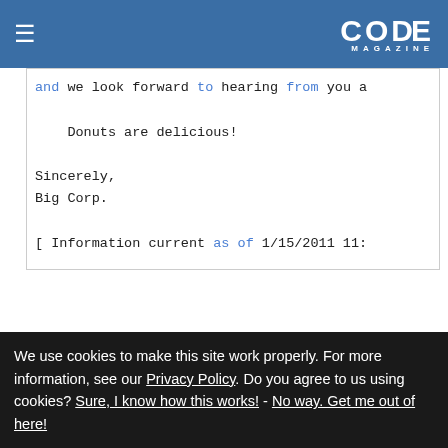CODE MAGAZINE
and we look forward to hearing from you a

    Donuts are delicious!

Sincerely,
Big Corp.

[ Information current as of 1/15/2011 11:
I have witnessed (and even developed) the email generation example many times, and each implementation seems drastically different than the
We use cookies to make this site work properly. For more information, see our Privacy Policy. Do you agree to us using cookies? Sure, I know how this works! - No way. Get me out of here!